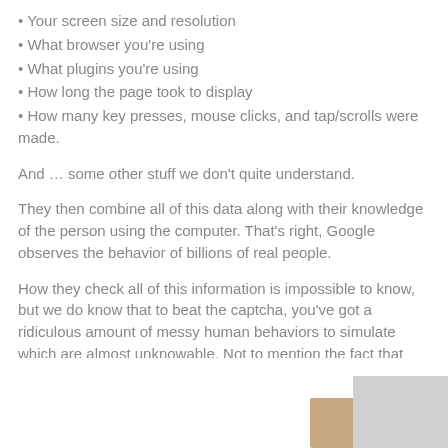• Your screen size and resolution
• What browser you're using
• What plugins you're using
• How long the page took to display
• How many key presses, mouse clicks, and tap/scrolls were made.
And … some other stuff we don't quite understand.
They then combine all of this data along with their knowledge of the person using the computer. That's right, Google observes the behavior of billions of real people.
How they check all of this information is impossible to know, but we do know that to beat the captcha, you've got a ridiculous amount of messy human behaviors to simulate which are almost unknowable. Not to mention the fact that they keep changing, and you can't tell when.
And you thought you were just checking an innocent looking little box, didn't you?
[Figure (photo): Partial photo visible at bottom of page, with a grey rectangle overlay in lower right corner]